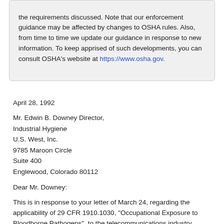the requirements discussed. Note that our enforcement guidance may be affected by changes to OSHA rules. Also, from time to time we update our guidance in response to new information. To keep apprised of such developments, you can consult OSHA's website at https://www.osha.gov.
April 28, 1992
Mr. Edwin B. Downey Director,
Industrial Hygiene
U.S. West, Inc.
9785 Maroon Circle
Suite 400
Englewood, Colorado 80112
Dear Mr. Downey:
This is in response to your letter of March 24, regarding the applicability of 29 CFR 1910.1030, "Occupational Exposure to Bloodborne Pathogens", to the telecommunications industry.
The bloodborne pathogens standard addresses the broad issue of occupational exposure to blood and other potentially infectious materials, and is not defined by or associated with the